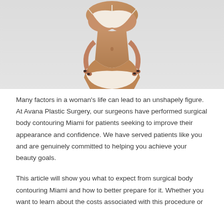[Figure (photo): A woman's torso in a white bikini against a light gray background, showing body contouring results]
Many factors in a woman's life can lead to an unshapely figure. At Avana Plastic Surgery, our surgeons have performed surgical body contouring Miami for patients seeking to improve their appearance and confidence. We have served patients like you and are genuinely committed to helping you achieve your beauty goals.
This article will show you what to expect from surgical body contouring Miami and how to better prepare for it. Whether you want to learn about the costs associated with this procedure or